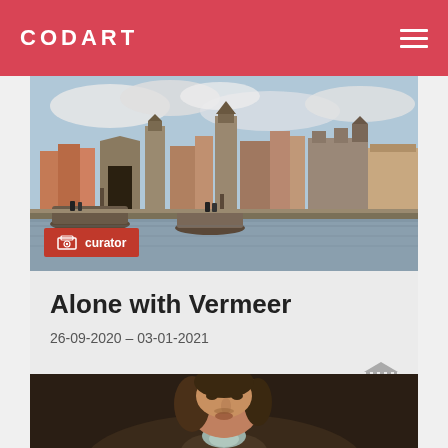CODART
[Figure (photo): View of Delft painting showing a Dutch city with canal, boats, and buildings under a cloudy sky. Red 'curator' badge overlay at bottom left.]
Alone with Vermeer
26-09-2020 – 03-01-2021
[Figure (photo): Portrait painting of a man with curly hair, wearing a brown coat and light-colored cravat, shown from shoulders up on dark background.]